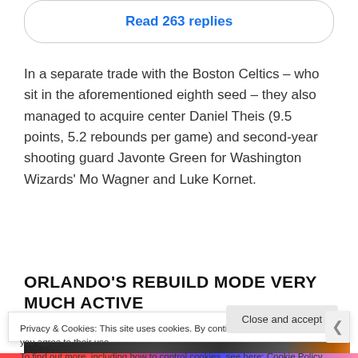Read 263 replies
In a separate trade with the Boston Celtics – who sit in the aforementioned eighth seed – they also managed to acquire center Daniel Theis (9.5 points, 5.2 rebounds per game) and second-year shooting guard Javonte Green for Washington Wizards' Mo Wagner and Luke Kornet.
ORLANDO'S REBUILD MODE VERY MUCH ACTIVE
[Figure (photo): Partial view of a dark photograph, likely showing a sports or news related image]
Privacy & Cookies: This site uses cookies. By continuing to use this website, you agree to their use. To find out more, including how to control cookies, see here: Cookie Policy
Close and accept